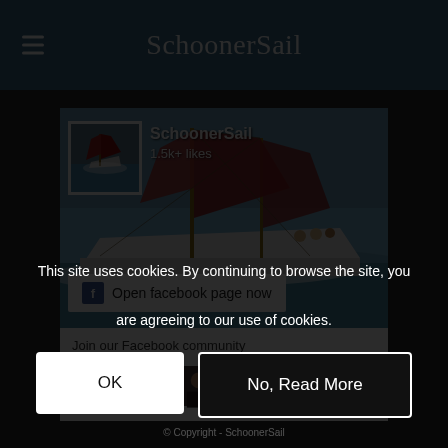SchoonerSail
[Figure (screenshot): SchoonerSail Facebook page widget showing a schooner sailing vessel with red sails, profile thumbnail, 1.5k+ likes, and 'Open facebook page now' button]
Join our Facebook community
[Figure (photo): Row of community member profile photos/avatars]
This site uses cookies. By continuing to browse the site, you are agreeing to our use of cookies.
© Copyright - SchoonerSail